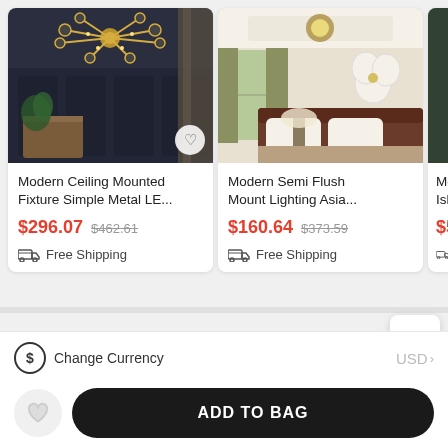[Figure (photo): Modern ceiling mounted chandelier light fixture with gold arms and round LED discs, shown in a dark-walled room]
[Figure (photo): Modern semi flush mount ceiling light in a bedroom with olive green curtains, white floral wall decor, and a bed with dark headboard]
[Figure (photo): Partial view of a third product in a dark green room setting]
Modern Ceiling Mounted Fixture Simple Metal LE...
$296.07  $462.61
Free Shipping
Modern Semi Flush Mount Lighting Asia...
$160.64  $373.59
Free Shipping
Modern Island
$552.
Fre
Change Currency
USD >
ADD TO BAG